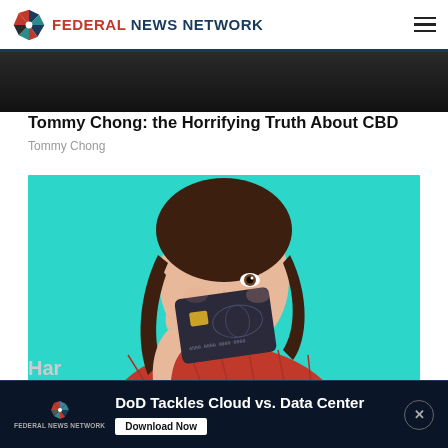FEDERAL NEWS NETWORK
[Figure (photo): Partially visible photo of a person, cropped at top of page]
Tommy Chong: the Horrifying Truth About CBD
Tommy Chong
[Figure (photo): Young woman in red sweater holding a dark credit card over her eye against a teal background]
Har
[Figure (infographic): Ad banner: DoD Tackles Cloud vs. Data Center — Federal News Network — Download Now button with close X button]